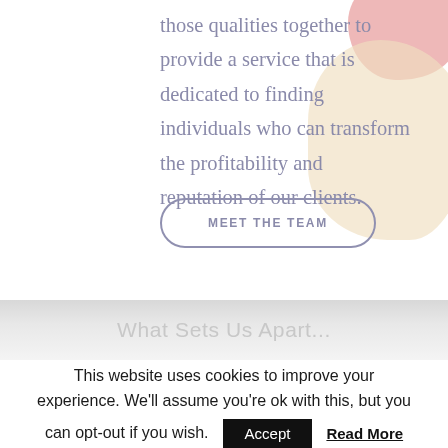those qualities together to provide a service that is dedicated to finding individuals who can transform the profitability and reputation of our clients.
MEET THE TEAM
What Sets Us Apart...
This website uses cookies to improve your experience. We'll assume you're ok with this, but you can opt-out if you wish.